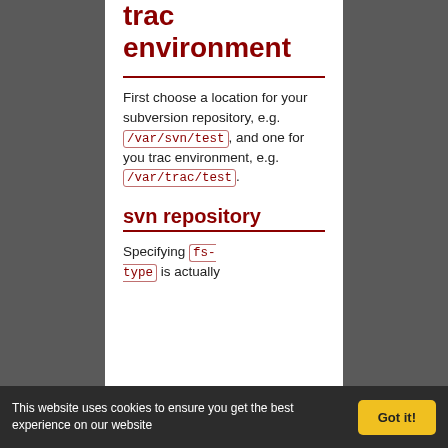trac environment
First choose a location for your subversion repository, e.g. /var/svn/test , and one for you trac environment, e.g. /var/trac/test .
svn repository
Specifying fs-type is actually
This website uses cookies to ensure you get the best experience on our website